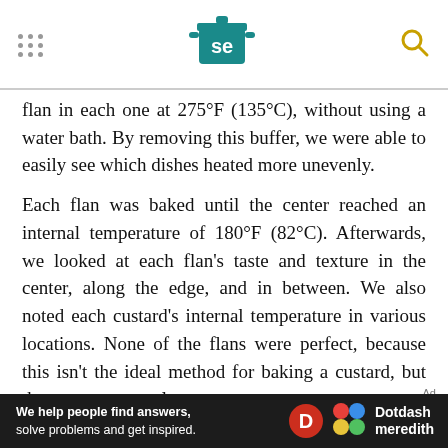Serious Eats header navigation
flan in each one at 275°F (135°C), without using a water bath. By removing this buffer, we were able to easily see which dishes heated more unevenly.
Each flan was baked until the center reached an internal temperature of 180°F (82°C). Afterwards, we looked at each flan's taste and texture in the center, along the edge, and in between. We also noted each custard's internal temperature in various locations. None of the flans were perfect, because this isn't the ideal method for baking a custard, but they came pretty close.
The majority of the dishes performed similarly
We help people find answers, solve problems and get inspired. Dotdash meredith